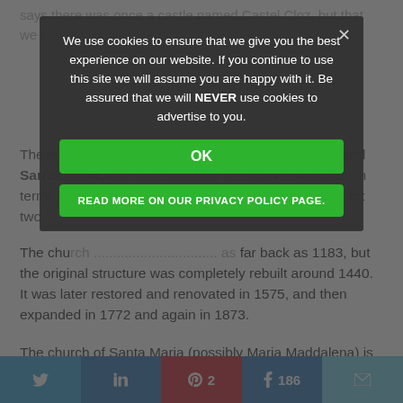says there was once a castle named Castel Cloz, but that we kno...
The village is divided into two districts: Santa Maria and San Stefano, the names of their respective churches; in terms of record-keeping, however, [treated as] a single parish, not two.
The chu[rch of San Stefano is mentioned in records dating] as far back as 1183, but the original structure was completely rebuilt around 1440. It was later restored and renovated in 1575, and then expanded in 1772 and again in 1873.
The church of Santa Maria (possibly Maria Maddalena) is mentioned in records dating back to 1485. It was restored in 1616 and again in 1889.
According to Dr Albino Casetti in his Guida Storico –
[Figure (infographic): Cookie consent overlay with dark semi-transparent background. Box contains message: We use cookies to ensure that we give you the best experience on our website. If you continue to use this site we will assume you are happy with it. Be assured that we will NEVER use cookies to advertise to you. Green OK button and green READ MORE ON OUR PRIVACY POLICY PAGE button, with X close icon.]
[Figure (infographic): Social share bar at bottom: Twitter button (blue), LinkedIn button (dark blue), Pinterest button (red) with count 2, Facebook button (dark blue) with count 186, Email button (light blue).]